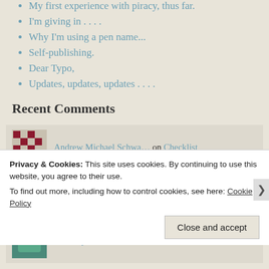My first experience with piracy, thus far.
I'm giving in . . . .
Why I'm using a pen name...
Self-publishing.
Dear Typo,
Updates, updates, updates . . . .
Recent Comments
Andrew Michael Schwa… on Checklist
bensbitterblog on Action vs. Thought: Meet the R…
kdoherty89 on Checklist
Privacy & Cookies: This site uses cookies. By continuing to use this website, you agree to their use. To find out more, including how to control cookies, see here: Cookie Policy